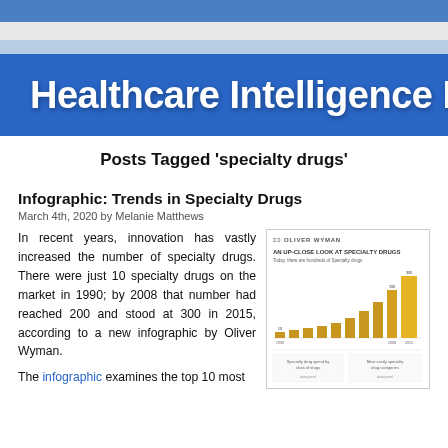Healthcare Intelligence N
Posts Tagged 'specialty drugs'
Infographic: Trends in Specialty Drugs
March 4th, 2020 by Melanie Matthews
In recent years, innovation has vastly increased the number of specialty drugs. There were just 10 specialty drugs on the market in 1990; by 2008 that number had reached 200 and stood at 300 in 2015, according to a new infographic by Oliver Wyman.
[Figure (infographic): Oliver Wyman infographic titled 'AN UP-CLOSE LOOK AT SPECIALTY DRUGS' showing a bar chart with growing gold/amber bars representing increasing number of specialty drugs over years, with additional data panels below.]
The infographic examines the top 10 most